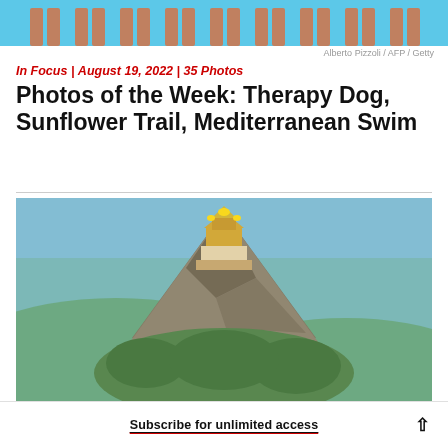[Figure (photo): Cropped photo showing legs of multiple people standing in a row, blue background (pool/water scene)]
Alberto Pizzoli / AFP / Getty
In Focus | August 19, 2022 | 35 Photos
Photos of the Week: Therapy Dog, Sunflower Trail, Mediterranean Swim
[Figure (photo): A steep rocky mountain peak topped with a golden Buddhist temple or pagoda, surrounded by green forested hills and a wide landscape below under a blue sky]
Sean Pavone Photo / iStockphoto / Getty
In Focus | August 17, 2022 | 20 Photos
Subscribe for unlimited access